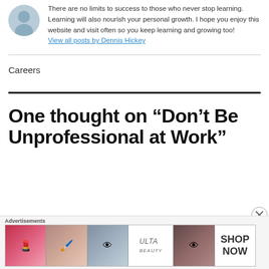There are no limits to success to those who never stop learning. Learning will also nourish your personal growth. I hope you enjoy this website and visit often so you keep learning and growing too! View all posts by Dennis Hickey
Careers
One thought on “Don’t Be Unprofessional at Work”
Advertisements
[Figure (photo): Advertisement banner for ULTA beauty showing makeup images, lip gloss, brush, eye with mascara, ULTA logo, eyes with liner, and SHOP NOW call to action]